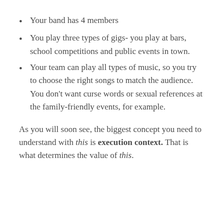Your band has 4 members
You play three types of gigs- you play at bars, school competitions and public events in town.
Your team can play all types of music, so you try to choose the right songs to match the audience. You don't want curse words or sexual references at the family-friendly events, for example.
As you will soon see, the biggest concept you need to understand with this is execution context. That is what determines the value of this.